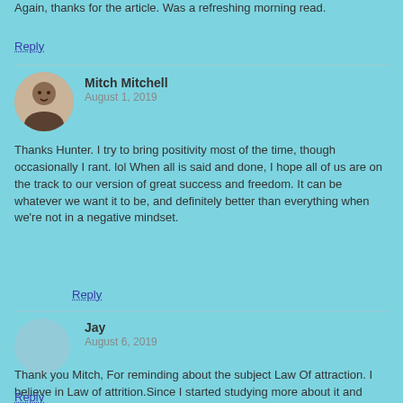Again, thanks for the article. Was a refreshing morning read.
Reply
Mitch Mitchell
August 1, 2019
Thanks Hunter. I try to bring positivity most of the time, though occasionally I rant. lol When all is said and done, I hope all of us are on the track to our version of great success and freedom. It can be whatever we want it to be, and definitely better than everything when we're not in a negative mindset.
Reply
Jay
August 6, 2019
Thank you Mitch, For reminding about the subject Law Of attraction. I believe in Law of attrition.Since I started studying more about it and applied in my life I am getting all the good things in life.and I am Happy and wealthy.I keep saying it and feel positive all the time.
Reply